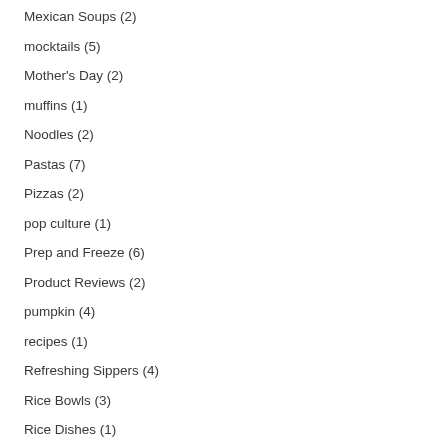Mexican Soups (2)
mocktails (5)
Mother's Day (2)
muffins (1)
Noodles (2)
Pastas (7)
Pizzas (2)
pop culture (1)
Prep and Freeze (6)
Product Reviews (2)
pumpkin (4)
recipes (1)
Refreshing Sippers (4)
Rice Bowls (3)
Rice Dishes (1)
Salads (11)
Sandwiches (3)